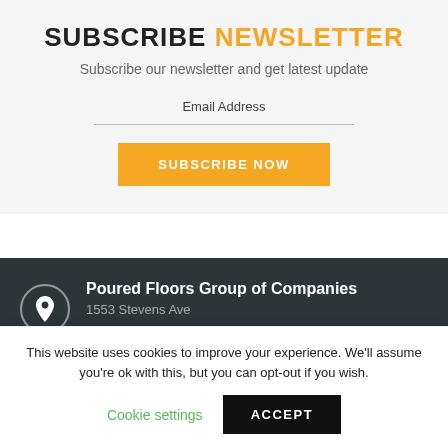SUBSCRIBE NEWSLETTER
Subscribe our newsletter and get latest update
Email Address
SUBSCRIBE NOW
Poured Floors Group of Companies
1553 Stevens Ave
This website uses cookies to improve your experience. We'll assume you're ok with this, but you can opt-out if you wish.
Cookie settings
ACCEPT